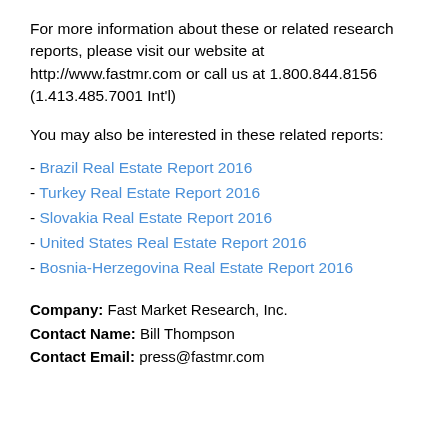For more information about these or related research reports, please visit our website at http://www.fastmr.com or call us at 1.800.844.8156 (1.413.485.7001 Int'l)
You may also be interested in these related reports:
- Brazil Real Estate Report 2016
- Turkey Real Estate Report 2016
- Slovakia Real Estate Report 2016
- United States Real Estate Report 2016
- Bosnia-Herzegovina Real Estate Report 2016
Company: Fast Market Research, Inc.
Contact Name: Bill Thompson
Contact Email: press@fastmr.com